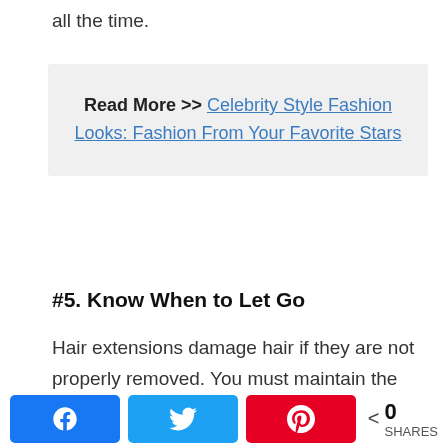all the time.
Read More >> Celebrity Style Fashion Looks: Fashion From Your Favorite Stars
#5. Know When to Let Go
Hair extensions damage hair if they are not properly removed. You must maintain the time frames set for that hair type. Extensions should not be too heavy as this will cause your hair to
0 SHARES — Facebook, Twitter, Pinterest share buttons